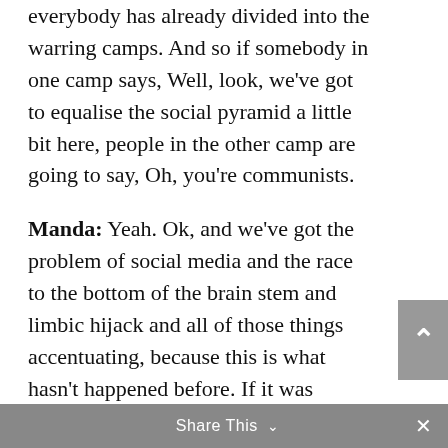everybody has already divided into the warring camps. And so if somebody in one camp says, Well, look, we've got to equalise the social pyramid a little bit here, people in the other camp are going to say, Oh, you're communists.
Manda: Yeah. Ok, and we've got the problem of social media and the race to the bottom of the brain stem and limbic hijack and all of those things accentuating, because this is what hasn't happened before. If it was simply the case that we were facing a century or two of totalitarianism and it was going to be hell
Share This ∨  ×